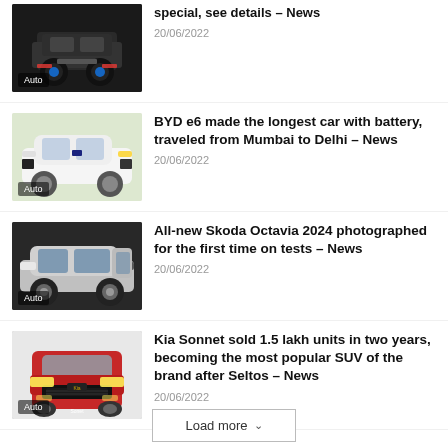special, see details – News
20/06/2022
BYD e6 made the longest car with battery, traveled from Mumbai to Delhi – News
20/06/2022
All-new Skoda Octavia 2024 photographed for the first time on tests – News
20/06/2022
Kia Sonnet sold 1.5 lakh units in two years, becoming the most popular SUV of the brand after Seltos – News
20/06/2022
Load more